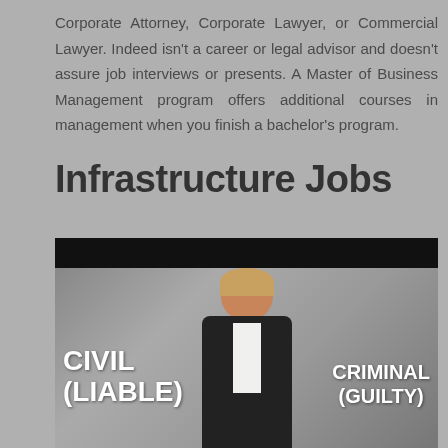Corporate Attorney, Corporate Lawyer, or Commercial Lawyer. Indeed isn't a career or legal advisor and doesn't assure job interviews or presents. A Master of Business Management program offers additional courses in management when you finish a bachelor's program.
Infrastructure Jobs
[Figure (photo): A man in a dark suit standing in front of a grey background with text overlays. On the left side reads 'CIVIL (LIABLE)' in large white bold text, and on the right side reads 'CRIMINAL (GUILTY)' in white bold text.]